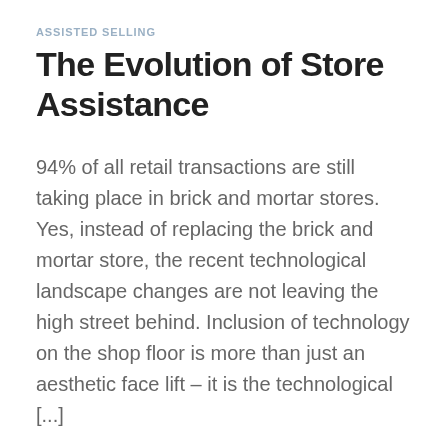ASSISTED SELLING
The Evolution of Store Assistance
94% of all retail transactions are still taking place in brick and mortar stores. Yes, instead of replacing the brick and mortar store, the recent technological landscape changes are not leaving the high street behind. Inclusion of technology on the shop floor is more than just an aesthetic face lift – it is the technological [...]